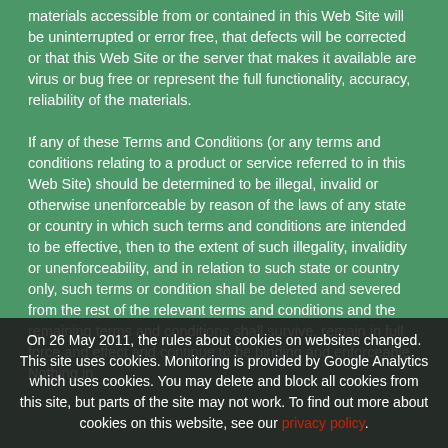materials accessible from or contained in this Web Site will be uninterrupted or error free, that defects will be corrected or that this Web Site or the server that makes it available are virus or bug free or represent the full functionality, accuracy, reliability of the materials.
If any of these Terms and Conditions (or any terms and conditions relating to a product or service referred to in this Web Site) should be determined to be illegal, invalid or otherwise unenforceable by reason of the laws of any state or country in which such terms and conditions are intended to be effective, then to the extent of such illegality, invalidity or unenforceability, and in relation to such state or country only, such terms or condition shall be deleted and severed from the rest of the relevant terms and conditions and the remaining terms and conditions shall survive, remain in full force and effect and continue to be binding and enforceable. Nothing in
On 26 May 2011, the rules about cookies on websites changed. This site uses cookies. Monitoring is provided by Google Analytics which uses cookies. You may delete and block all cookies from this site, but parts of the site may not work. To find out more about cookies on this website, see our privacy policy.